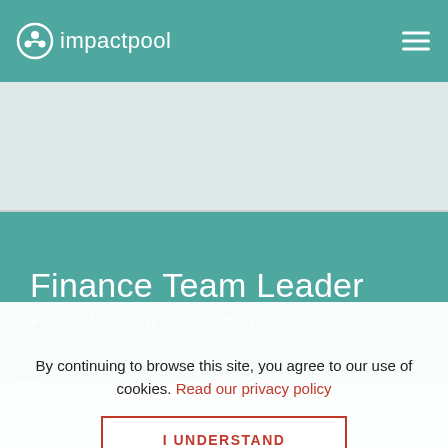impactpool
Finance Team Leader
📍 NOUMÉA (NEW CALEDONIA)
By continuing to browse this site, you agree to our use of cookies. Read our privacy policy
I UNDERSTAND